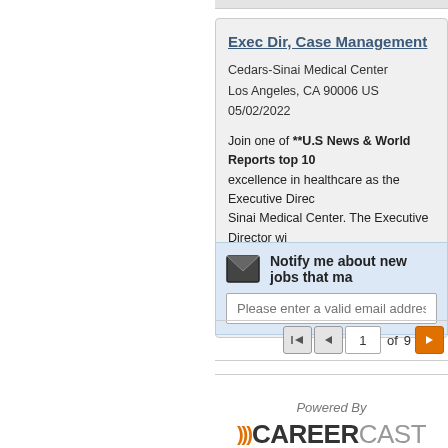Exec Dir, Case Management
Cedars-Sinai Medical Center
Los Angeles, CA 90006 US
05/02/2022
Join one of **U.S News & World Reports top 10... excellence in healthcare as the Executive Direc... Sinai Medical Center. The Executive Director wi... to provide strategic oversight, overall program d...
Save Ad
Notify me about new jobs that ma...
Please enter a valid email address.
1 of 9
[Figure (logo): CareerCast logo with Powered By text above it]